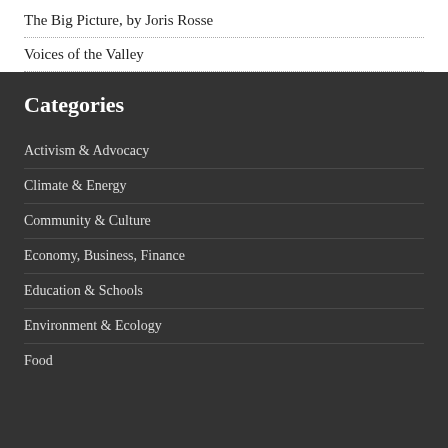The Big Picture, by Joris Rosse
Voices of the Valley
Categories
Activism & Advocacy
Climate & Energy
Community & Culture
Economy, Business, Finance
Education & Schools
Environment & Ecology
Food